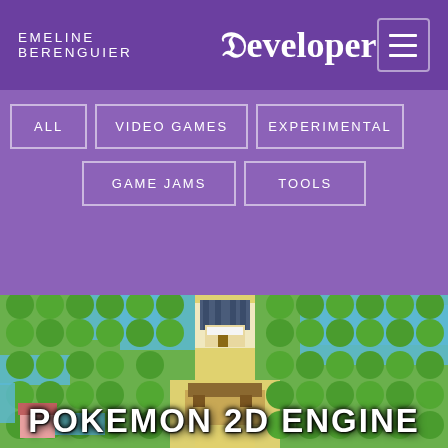EMELINE BERENGUIER Developer
ALL
VIDEO GAMES
EXPERIMENTAL
GAME JAMS
TOOLS
[Figure (screenshot): Pokemon-style 2D top-down game map showing trees, water (blue areas), paths (yellow/sand), and buildings including a house with dark roof and a brown structure]
POKEMON 2D ENGINE